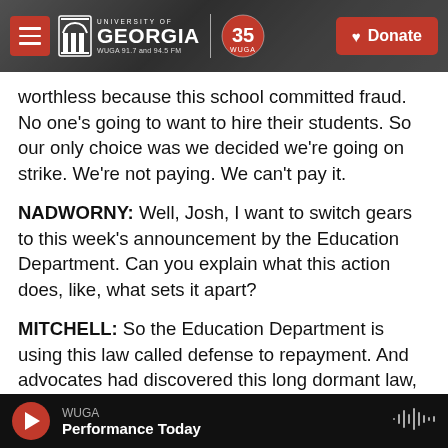University of Georgia WUGA 91.7 and 94.5 FM | 35 WUGA | Donate
worthless because this school committed fraud. No one's going to want to hire their students. So our only choice was we decided we're going on strike. We're not paying. We can't pay it.
NADWORNY: Well, Josh, I want to switch gears to this week's announcement by the Education Department. Can you explain what this action does, like, what sets it apart?
MITCHELL: So the Education Department is using this law called defense to repayment. And advocates had discovered this long dormant law,
WUGA | Performance Today